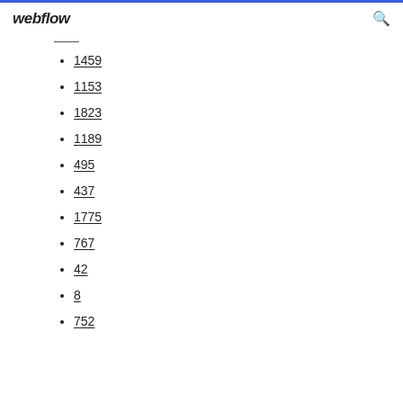webflow
1459
1153
1823
1189
495
437
1775
767
42
8
752